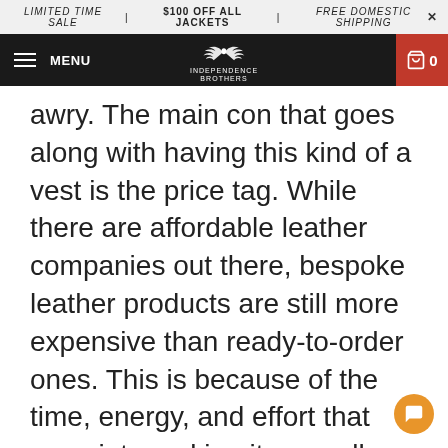LIMITED TIME SALE | $100 OFF ALL JACKETS | FREE DOMESTIC SHIPPING ×
MENU  INDEPENDENCE BROTHERS  0
awry. The main con that goes along with having this kind of a vest is the price tag. While there are affordable leather companies out there, bespoke leather products are still more expensive than ready-to-order ones. This is because of the time, energy, and effort that goes into making it, as well as because it is custom and unique. If you decide to go custom, you can research affordable custom leather companies. Some companies, such as Independence Brothers,